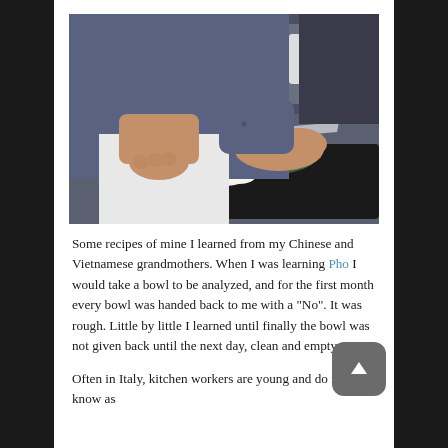[Figure (photo): A chef in a blue shirt and white apron chopping fennel on a black cutting board in a kitchen. A large knife is visible and the hands are mid-chop.]
Some recipes of mine I learned from my Chinese and Vietnamese grandmothers. When I was learning Pho I would take a bowl to be analyzed, and for the first month every bowl was handed back to me with a "No". It was rough. Little by little I learned until finally the bowl was not given back until the next day, clean and empty.
Often in Italy, kitchen workers are young and do not know as